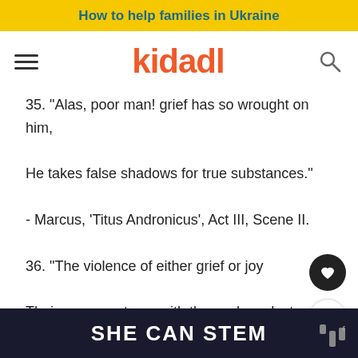How to help families in Ukraine
kidadl
35. "Alas, poor man! grief has so wrought on him,
He takes false shadows for true substances."
- Marcus, 'Titus Andronicus', Act III, Scene II.
36. "The violence of either grief or joy
Their own enactures with themselves destroy."
- Player King, 'Hamlet', Act III, Scene II.
37. "What, man! Ne'er pull your hat upon your brows
SHE CAN STEM